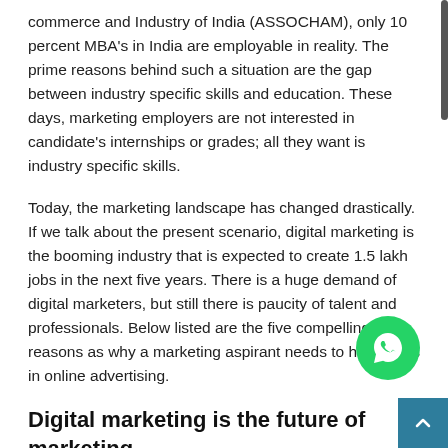commerce and Industry of India (ASSOCHAM), only 10 percent MBA's in India are employable in reality. The prime reasons behind such a situation are the gap between industry specific skills and education. These days, marketing employers are not interested in candidate's internships or grades; all they want is industry specific skills.
Today, the marketing landscape has changed drastically. If we talk about the present scenario, digital marketing is the booming industry that is expected to create 1.5 lakh jobs in the next five years. There is a huge demand of digital marketers, but still there is paucity of talent and professionals. Below listed are the five compelling reasons as why a marketing aspirant needs to have skills in online advertising.
Digital marketing is the future of marketing
There have been ample surveys and reports which claim that online marketing would be the future of marketing. This is a digital age. The tech savvy present age generation and the ever-growing internet population has the paved the path of digital marke...
The rising popularity of Smartphone's, tablets, smart TVs and so on have compelled the businesses to target and engage their po...